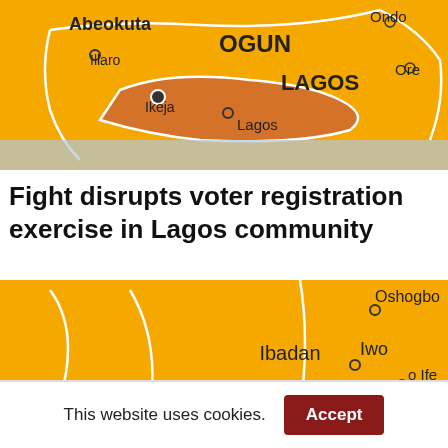[Figure (map): Map of Nigeria showing Ogun and Lagos states with cities Abeokuta, Illaro, Ikeja, Lagos, Ondo, Ore labeled. Lagos state shown in orange/brown, surrounding states in yellow.]
Fight disrupts voter registration exercise in Lagos community
[Figure (map): Map of Nigeria showing Ogun, Osun states with cities Ibadan, Iwo, Ife, Oshogbo, Abeokuta, Ondo labeled. States shown in yellow.]
This website uses cookies.